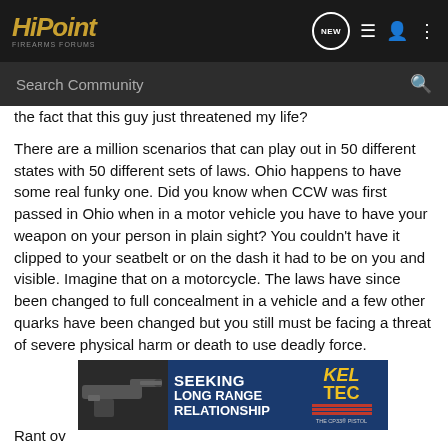HiPoint Firearms Forums
the fact that this guy just threatened my life?
There are a million scenarios that can play out in 50 different states with 50 different sets of laws. Ohio happens to have some real funky one. Did you know when CCW was first passed in Ohio when in a motor vehicle you have to have your weapon on your person in plain sight? You couldn't have it clipped to your seatbelt or on the dash it had to be on you and visible. Imagine that on a motorcycle. The laws have since been changed to full concealment in a vehicle and a few other quarks have been changed but you still must be facing a threat of severe physical harm or death to use deadly force.
[Figure (screenshot): Kel-Tec CP33 pistol advertisement banner reading SEEKING LONG RANGE RELATIONSHIP]
Rant ov